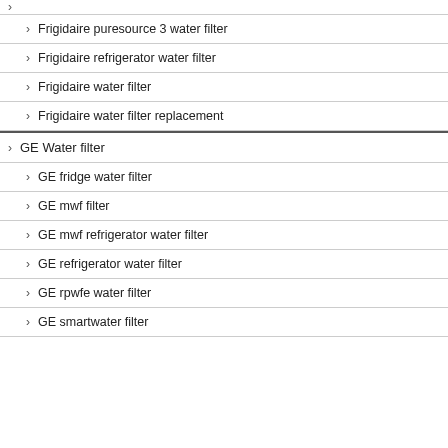Frigidaire puresource 3 water filter
Frigidaire refrigerator water filter
Frigidaire water filter
Frigidaire water filter replacement
GE Water filter
GE fridge water filter
GE mwf filter
GE mwf refrigerator water filter
GE refrigerator water filter
GE rpwfe water filter
GE smartwater filter